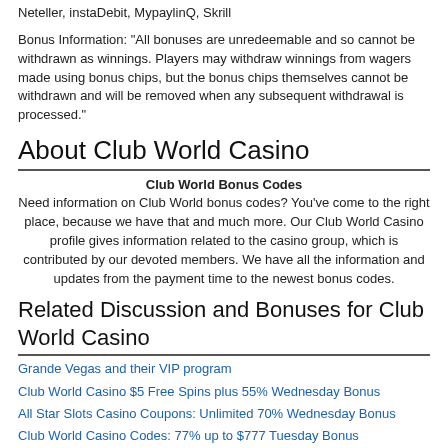Neteller, instaDebit, MypaylinQ, Skrill
Bonus Information: "All bonuses are unredeemable and so cannot be withdrawn as winnings. Players may withdraw winnings from wagers made using bonus chips, but the bonus chips themselves cannot be withdrawn and will be removed when any subsequent withdrawal is processed."
About Club World Casino
Club World Bonus Codes
Need information on Club World bonus codes? You've come to the right place, because we have that and much more. Our Club World Casino profile gives information related to the casino group, which is contributed by our devoted members. We have all the information and updates from the payment time to the newest bonus codes.
Related Discussion and Bonuses for Club World Casino
Grande Vegas and their VIP program
Club World Casino $5 Free Spins plus 55% Wednesday Bonus
All Star Slots Casino Coupons: Unlimited 70% Wednesday Bonus
Club World Casino Codes: 77% up to $777 Tuesday Bonus
Club World Casino Codes: 70% Weekend Bonus and 10% Cashback
All Star Slots Casino 65%x4 Tuesday Bonus plus $20 Free Chip
Club World Casino Coupons: 65%x5 Monday Bonus for All Games
All Star Slots Casino 60% Monday Bonus plus 25 Free Spins
All Star Slots Casino 70%X5 Weekend Bonus plus $20 Free Chip